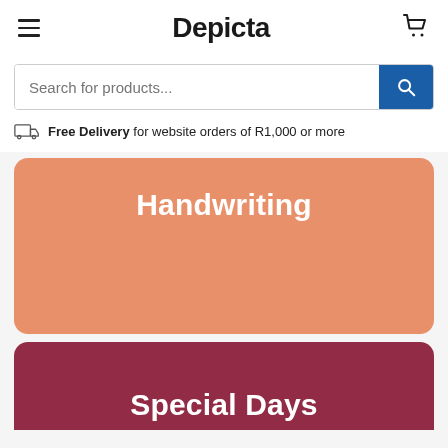Depicta
Search for products...
Free Delivery for website orders of R1,000 or more
Handwriting
Special Days